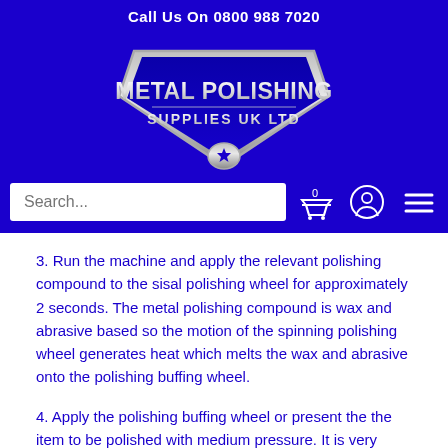Call Us On 0800 988 7020
[Figure (logo): Metal Polishing Supplies UK Ltd shield logo with silver chrome text on blue background and star emblem]
3. Run the machine and apply the relevant polishing compound to the sisal polishing wheel for approximately 2 seconds. The metal polishing compound is wax and abrasive based so the motion of the spinning polishing wheel generates heat which melts the wax and abrasive onto the polishing buffing wheel.
4. Apply the polishing buffing wheel or present the the item to be polished with medium pressure. It is very important that you remove all marks and scratches and leave a uniform finish.